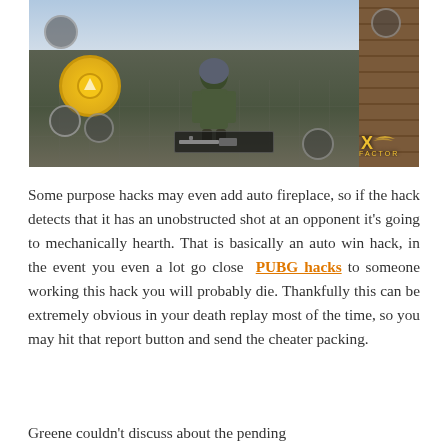[Figure (screenshot): Screenshot of a PUBG mobile game showing a player character in tactical gear on a rooftop, with mobile game HUD controls visible including a golden joystick circle, weapon HUD, and X Factor watermark logo in the bottom right corner.]
Some purpose hacks may even add auto fireplace, so if the hack detects that it has an unobstructed shot at an opponent it's going to mechanically hearth. That is basically an auto win hack, in the event you even a lot go close PUBG hacks to someone working this hack you will probably die. Thankfully this can be extremely obvious in your death replay most of the time, so you may hit that report button and send the cheater packing.
Greene couldn't discuss about the pending